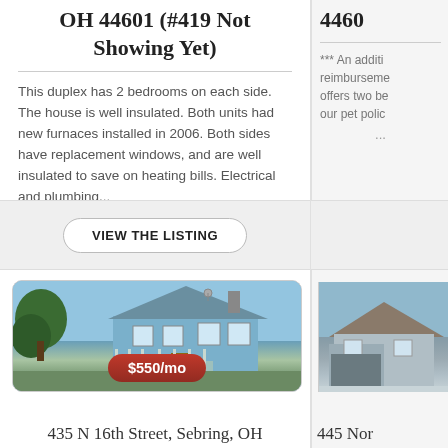OH 44601 (#419 Not Showing Yet)
This duplex has 2 bedrooms on each side. The house is well insulated. Both units had new furnaces installed in 2006. Both sides have replacement windows, and are well insulated to save on heating bills. Electrical and plumbing...
VIEW THE LISTING
[Figure (photo): Exterior photo of a blue two-story house with a porch, trees, and grass. Price badge shows $550/mo.]
435 N 16th Street, Sebring, OH
4460
*** An additional reimbursement... offers two be... our pet polic...
[Figure (photo): Exterior photo of a house with a garage or carport, partially cropped.]
445 Nor